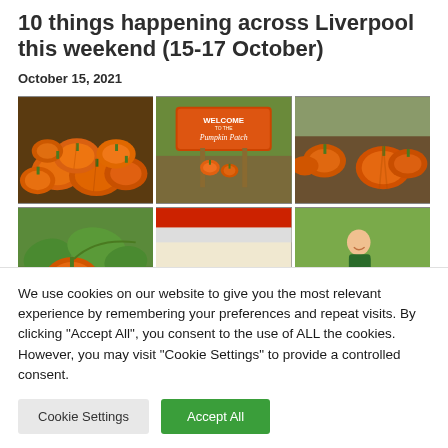10 things happening across Liverpool this weekend (15-17 October)
October 15, 2021
[Figure (photo): A 2x3 grid of pumpkin patch photos including piles of orange pumpkins, a Welcome to the Pumpkin Patch sign, pumpkins in a field, a growing pumpkin, a PUMPKIN sign, and a young boy with pumpkins.]
We use cookies on our website to give you the most relevant experience by remembering your preferences and repeat visits. By clicking "Accept All", you consent to the use of ALL the cookies. However, you may visit "Cookie Settings" to provide a controlled consent.